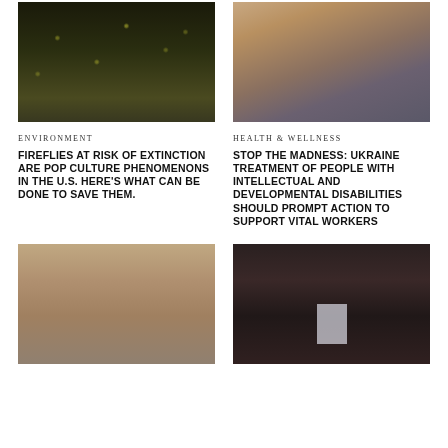[Figure (photo): Dark night scene with fireflies glowing yellow-green in grass and vegetation]
[Figure (photo): Close-up of a person's raised hand/arm against a blurred background]
ENVIRONMENT
HEALTH & WELLNESS
FIREFLIES AT RISK OF EXTINCTION ARE POP CULTURE PHENOMENONS IN THE U.S. HERE'S WHAT CAN BE DONE TO SAVE THEM.
STOP THE MADNESS: UKRAINE TREATMENT OF PEOPLE WITH INTELLECTUAL AND DEVELOPMENTAL DISABILITIES SHOULD PROMPT ACTION TO SUPPORT VITAL WORKERS
[Figure (photo): Close-up of a person's clasped hands resting on their lap, wearing dark clothing]
[Figure (photo): Dark interior room scene with a person holding a white sign or paper]